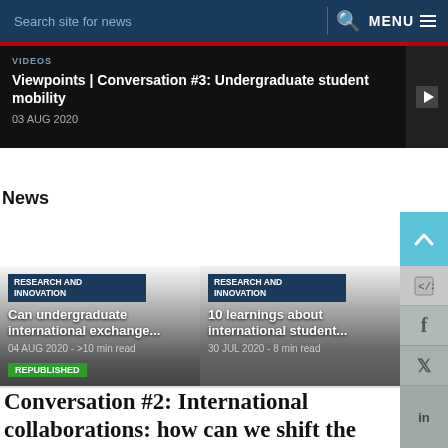Search site for news   MENU
Viewpoints | Conversation #3: Undergraduate student mobility
03 AUG 2020
News
RESEARCH AND INNOVATION
Can undergraduate international exchange...
04 AUG 2020 - >10 min read
REPUBLISHED
RESEARCH AND INNOVATION
10 learnings about international student...
30 JUL 2020 - 8 min read
Conversation #2: International collaborations: how can we shift the power towards Africa?